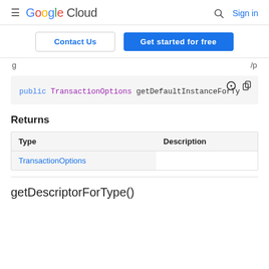Google Cloud  Sign in
Contact Us  Get started for free
g…  /p…
[Figure (screenshot): Code block showing: public TransactionOptions getDefaultInstanceForTy...]
Returns
| Type | Description |
| --- | --- |
| TransactionOptions |  |
getDescriptorForType()